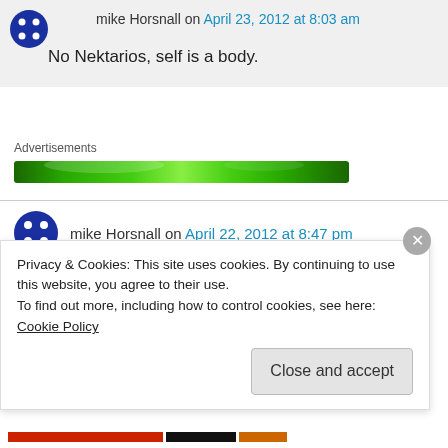mike Horsnall on April 23, 2012 at 8:03 am
No Nektarios, self is a body.
Advertisements
[Figure (other): Green advertisement banner bar]
mike Horsnall on April 22, 2012 at 8:47 pm
Privacy & Cookies: This site uses cookies. By continuing to use this website, you agree to their use.
To find out more, including how to control cookies, see here: Cookie Policy
Close and accept